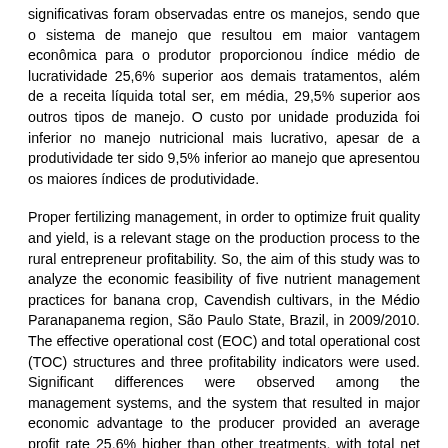significativas foram observadas entre os manejos, sendo que o sistema de manejo que resultou em maior vantagem econômica para o produtor proporcionou índice médio de lucratividade 25,6% superior aos demais tratamentos, além de a receita líquida total ser, em média, 29,5% superior aos outros tipos de manejo. O custo por unidade produzida foi inferior no manejo nutricional mais lucrativo, apesar de a produtividade ter sido 9,5% inferior ao manejo que apresentou os maiores índices de produtividade.
Proper fertilizing management, in order to optimize fruit quality and yield, is a relevant stage on the production process to the rural entrepreneur profitability. So, the aim of this study was to analyze the economic feasibility of five nutrient management practices for banana crop, Cavendish cultivars, in the Médio Paranapanema region, São Paulo State, Brazil, in 2009/2010. The effective operational cost (EOC) and total operational cost (TOC) structures and three profitability indicators were used. Significant differences were observed among the management systems, and the system that resulted in major economic advantage to the producer provided an average profit rate 25.6% higher than other treatments, with total net revenue about 29.5% higher than other management types. The unitary cost was lower for the most profitable nutrient management practice, although the yield was 9.5% lower than the management system that presented the highest yield levels.